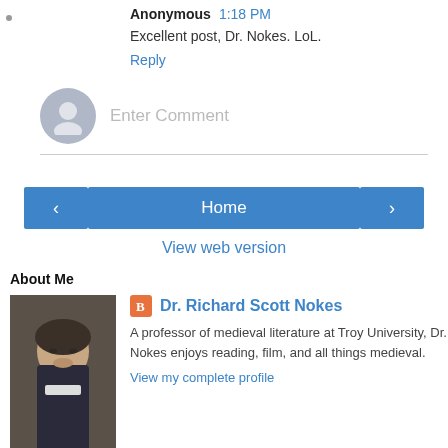Anonymous 1:18 PM
Excellent post, Dr. Nokes. LoL.
Reply
Enter Comment
‹
Home
›
View web version
About Me
[Figure (photo): Photo of Dr. Richard Scott Nokes, a bald man with glasses and a beard, wearing a suit with a bow tie]
Dr. Richard Scott Nokes
A professor of medieval literature at Troy University, Dr. Nokes enjoys reading, film, and all things medieval.
View my complete profile
Powered by Blogger.